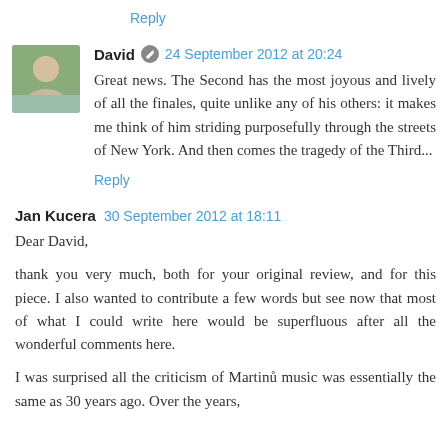Reply
David 24 September 2012 at 20:24
Great news. The Second has the most joyous and lively of all the finales, quite unlike any of his others: it makes me think of him striding purposefully through the streets of New York. And then comes the tragedy of the Third...
Reply
Jan Kucera 30 September 2012 at 18:11
Dear David,
thank you very much, both for your original review, and for this piece. I also wanted to contribute a few words but see now that most of what I could write here would be superfluous after all the wonderful comments here.
I was surprised all the criticism of Martinu music was essentially the same as 30 years ago. Over the years,